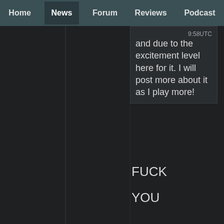Home | News | Forum | Reviews | Podcast
and due to the excitement level here for it. I will post more about it as I play more! 9:58UTC
FUCK
YOU
I hope you guys know I'm kidding all the time 😄
Except with Steel.